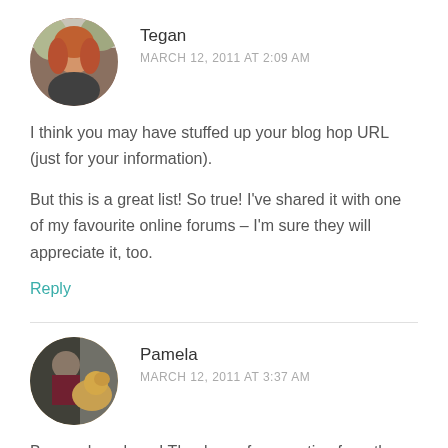[Figure (photo): Circular avatar photo of Tegan, a woman with red/auburn hair]
Tegan
MARCH 12, 2011 AT 2:09 AM
I think you may have stuffed up your blog hop URL (just for your information).
But this is a great list! So true! I've shared it with one of my favourite online forums – I'm sure they will appreciate it, too.
Reply
[Figure (photo): Circular avatar photo of Pamela, a person with a golden dog]
Pamela
MARCH 12, 2011 AT 3:37 AM
Bwaaaahaaahaaa! Thank you for reporting from the